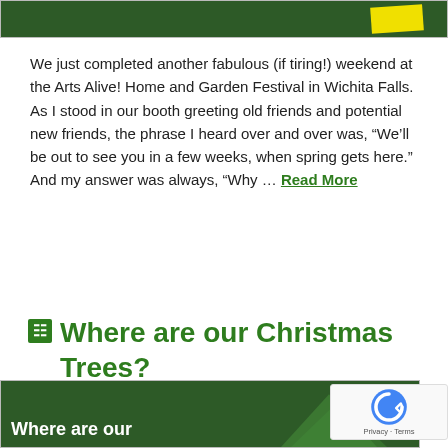[Figure (photo): Top portion of a dark green banner image with a yellow shape visible at the top]
We just completed another fabulous (if tiring!) weekend at the Arts Alive! Home and Garden Festival in Wichita Falls. As I stood in our booth greeting old friends and potential new friends, the phrase I heard over and over was, “We’ll be out to see you in a few weeks, when spring gets here.” And my answer was always, “Why … Read More
Where are our Christmas Trees?
[Figure (photo): Bottom portion of a dark green banner image with white text reading 'Where are our' and additional text cut off, and green trees visible]